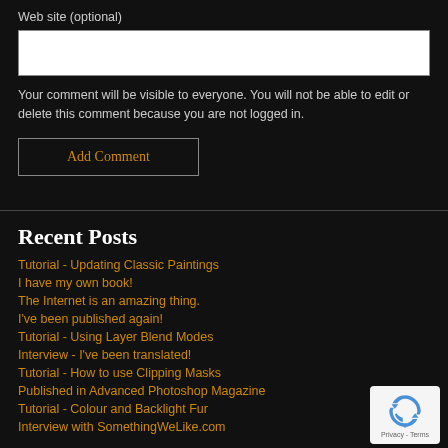Web site (optional)
Your comment will be visible to everyone. You will not be able to edit or delete this comment because you are not logged in.
Add Comment
Recent Posts
Tutorial - Updating Classic Paintings
I have my own book!
The Internet is an amazing thing.
I've been published again!
Tutorial - Using Layer Blend Modes
Interview - I've been translated!
Tutorial - How to use Clipping Masks
Published in Advanced Photoshop Magazine
Tutorial - Colour and Backlight Fur
Interview with SomethingWeLike.com